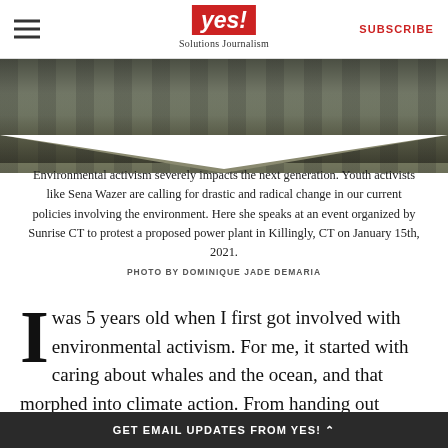YES! Solutions Journalism | SUBSCRIBE
[Figure (photo): Outdoor protest scene showing people's legs and feet at ground level, with a chevron/diamond shaped crop at the bottom of the image.]
Environmental activism severely impacts the next generation. Youth activists like Sena Wazer are calling for drastic and radical change in our current policies involving the environment. Here she speaks at an event organized by Sunrise CT to protest a proposed power plant in Killingly, CT on January 15th, 2021.
PHOTO BY DOMINIQUE JADE DEMARIA
I was 5 years old when I first got involved with environmental activism. For me, it started with caring about whales and the ocean, and that morphed into climate action. From handing out pamphlets at the local farmers market and being
GET EMAIL UPDATES FROM YES! ^